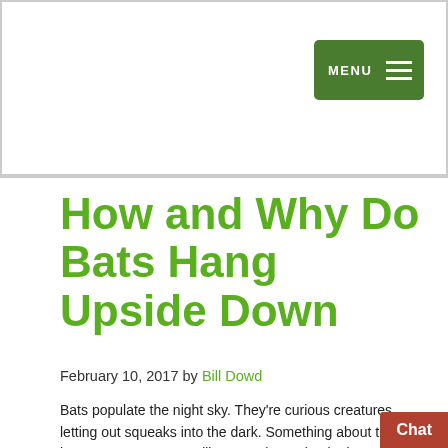MENU
How and Why Do Bats Hang Upside Down
February 10, 2017 by Bill Dowd
Bats populate the night sky. They're curious creatures letting out squeaks into the dark. Something about them is creepy. Bats are not like any other animal. They use echolocation to move through the night. They're one of the few mammals who fly. And they're most known for sleeping upside down. It takes a special set of skills to hang from your feet, especially without blood rushing to your head and legs becoming weak. Why bats hang upside down Unlike birds they cannot just take off from the ground. Hanging upside down gives bats an ideal position for takeoff. Bat's wings don't produce enough lift to